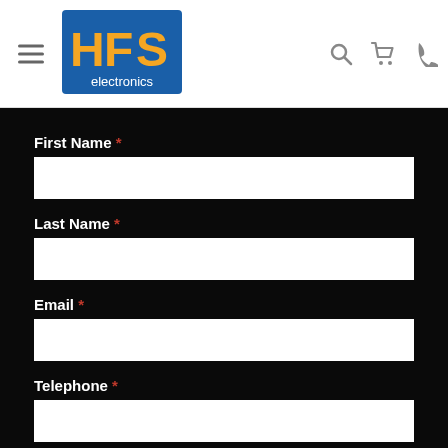[Figure (logo): HFS Electronics logo - blue square with orange HFS letters and 'electronics' text below]
First Name *
Last Name *
Email *
Telephone *